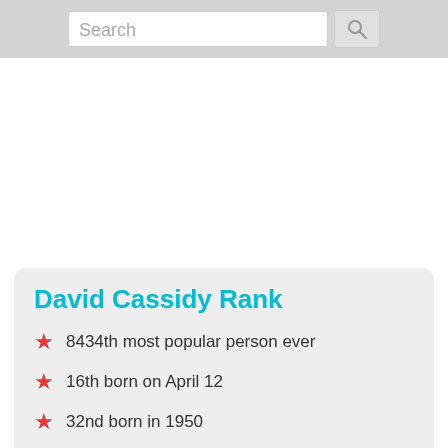Search
David Cassidy Rank
8434th most popular person ever
16th born on April 12
32nd born in 1950
5346th most famous American